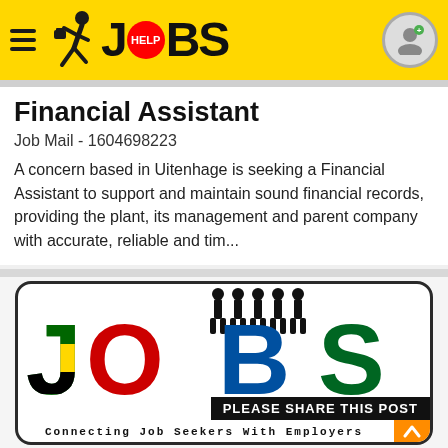JOBS - Help Jobs
Financial Assistant
Job Mail - 1604698223
A concern based in Uitenhage is seeking a Financial Assistant to support and maintain sound financial records, providing the plant, its management and parent company with accurate, reliable and tim...
[Figure (logo): JOBS logo with South African flag pattern letters and silhouettes of people standing on top. Text: PLEASE SHARE THIS POST. Connecting Job Seekers With Employers.]